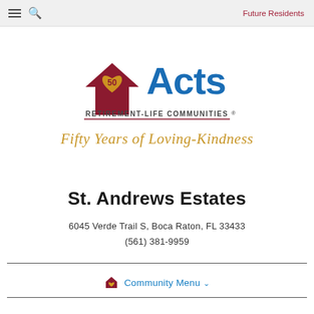Future Residents
[Figure (logo): Acts Retirement-Life Communities 50th anniversary logo with house icon containing a heart and '50', bold blue 'Acts' text, and 'RETIREMENT-LIFE COMMUNITIES®' underlined below. Tagline: 'Fifty Years of Loving-Kindness' in gold italic script.]
St. Andrews Estates
6045 Verde Trail S, Boca Raton, FL 33433
(561) 381-9959
Community Menu